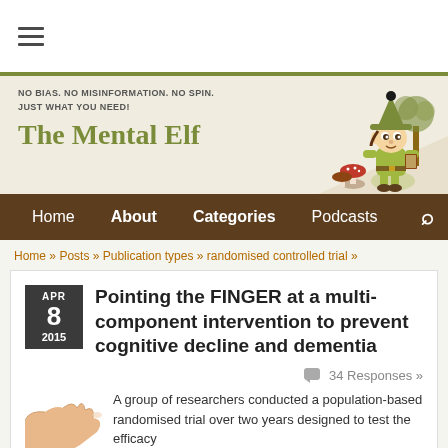[Figure (illustration): Hamburger/menu icon (three horizontal lines) in top white bar]
[Figure (illustration): The Mental Elf website header banner with elf character cartoon, mushrooms, and tree illustration on beige background]
NO BIAS. NO MISINFORMATION. NO SPIN. JUST WHAT YOU NEED! The Mental Elf
Home   About   Categories   Podcasts
Home » Posts » Publication types » randomised controlled trial »
Pointing the FINGER at a multi-component intervention to prevent cognitive decline and dementia
34 Responses »
A group of researchers conducted a population-based randomised trial over two years designed to test the efficacy